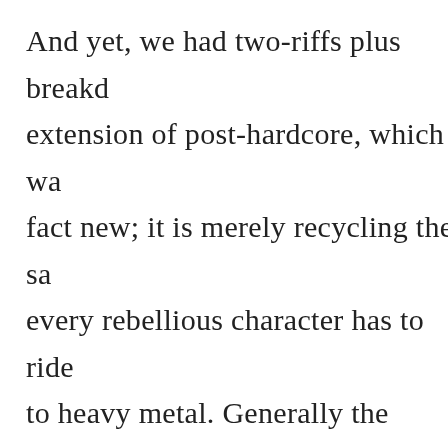And yet, we had two-riffs plus breakdown extension of post-hardcore, which was in fact new; it is merely recycling the same every rebellious character has to ride to heavy metal. Generally the pattern people want but do not understand, the version of it, and then pimp it out. Op being too deep for most people, but w did five years before. Meshuggah too riffs but made it more obvious, simplif structure, but added nothing new mus Cradle of Filth figured out that if som